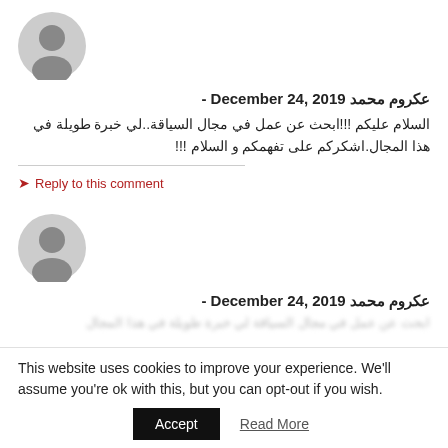[Figure (illustration): Gray default user avatar circle icon]
عكروم محمد - December 24, 2019
السلام عليكم !!!ابحث عن عمل في مجال السياقة..لي خبرة طويلة في هذا المجال.اشكركم على تفهمكم و السلام !!!
Reply to this comment
[Figure (illustration): Gray default user avatar circle icon]
عكروم محمد - December 24, 2019
This website uses cookies to improve your experience. We'll assume you're ok with this, but you can opt-out if you wish.
Accept
Read More